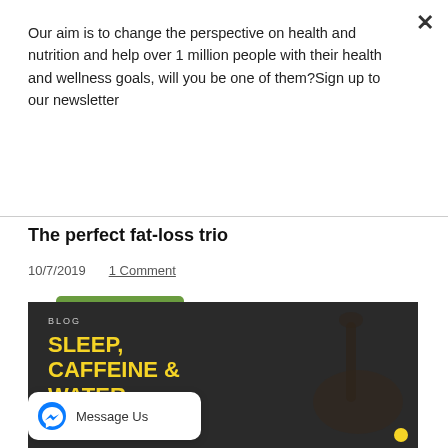Our aim is to change the perspective on health and nutrition and help over 1 million people with their health and wellness goals, will you be one of them?Sign up to our newsletter
Subscribe
The perfect fat-loss trio
10/7/2019  1 Comment
[Figure (photo): Blog post header image with dark background showing coffee being poured, overlaid with text: BLOG / SLEEP, CAFFEINE & WATER in yellow bold text. Website nutri-train.com shown at bottom left. Yellow dot at bottom right. Messenger chat bubble overlay at bottom left.]